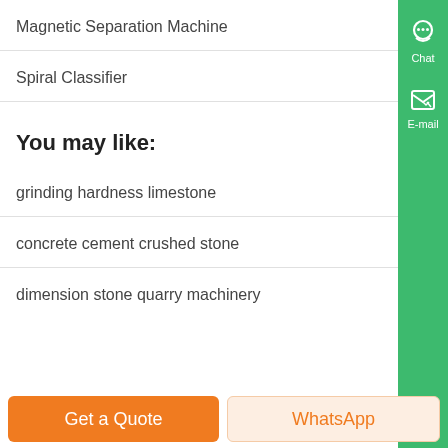Magnetic Separation Machine
Spiral Classifier
You may like:
grinding hardness limestone
concrete cement crushed stone
dimension stone quarry machinery
Get a Quote | WhatsApp